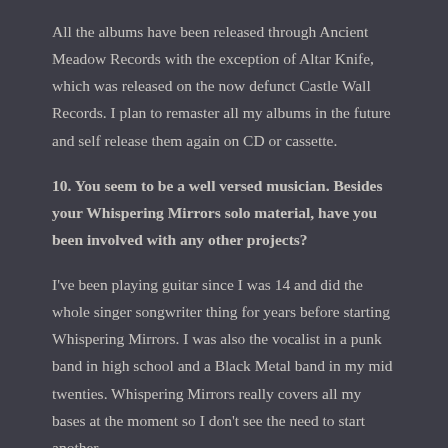All the albums have been released through Ancient Meadow Records with the exception of Altar Knife, which was released on the now defunct Castle Wall Records. I plan to remaster all my albums in the future and self release them again on CD or cassette.
10. You seem to be a well versed musician. Besides your Whispering Mirrors solo material, have you been involved with any other projects?
I've been playing guitar since I was 14 and did the whole singer songwriter thing for years before starting Whispering Mirrors. I was also the vocalist in a punk band in high school and a Black Metal band in my mid twenties. Whispering Mirrors really covers all my bases at the moment so I don't see the need to start another